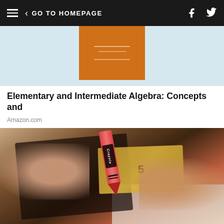GO TO HOMEPAGE
[Figure (photo): Partial view of algebra textbook cover with orange background]
Elementary and Intermediate Algebra: Concepts and
Amazon.com
[Figure (photo): Hands holding open a brown leather wallet with a Crayola crayon and euro banknotes inside, on a white wooden surface]
Always Put A Crayon In Your Wallet When Traveling
SoGoodly